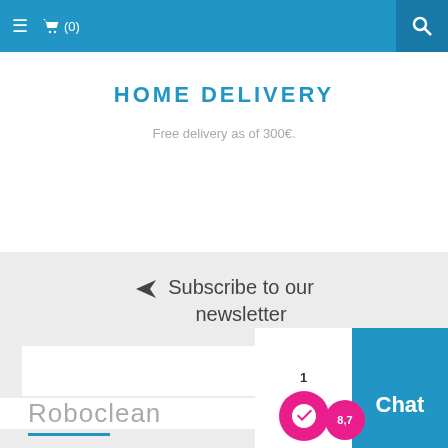≡  🛒 (0)
HOME DELIVERY
Free delivery as of 300€.
Subscribe to our newsletter
Subscribe
Roboclean
[Figure (screenshot): Chat widget overlay showing a rating badge with 8,7 score and a Chat button]